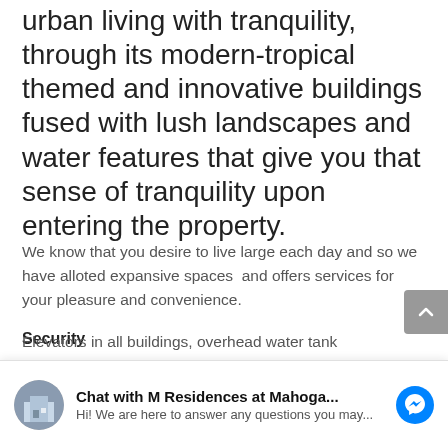development that blends urban living with tranquility, through its modern-tropical themed and innovative buildings fused with lush landscapes and water features that give you that sense of tranquility upon entering the property.
We know that you desire to live large each day and so we have alloted expansive spaces  and offers services for your pleasure and convenience.
Security
Lighted perimeter fence and entrance gate with guard house and car barriers, 24/7 roving security
Elevators in all buildings, overhead water tank